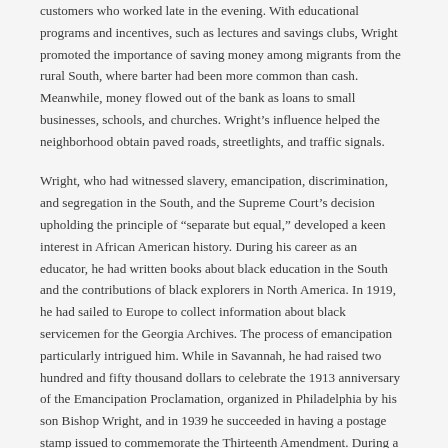customers who worked late in the evening. With educational programs and incentives, such as lectures and savings clubs, Wright promoted the importance of saving money among migrants from the rural South, where barter had been more common than cash. Meanwhile, money flowed out of the bank as loans to small businesses, schools, and churches. Wright's influence helped the neighborhood obtain paved roads, streetlights, and traffic signals.
Wright, who had witnessed slavery, emancipation, discrimination, and segregation in the South, and the Supreme Court's decision upholding the principle of "separate but equal," developed a keen interest in African American history. During his career as an educator, he had written books about black education in the South and the contributions of black explorers in North America. In 1919, he had sailed to Europe to collect information about black servicemen for the Georgia Archives. The process of emancipation particularly intrigued him. While in Savannah, he had raised two hundred and fifty thousand dollars to celebrate the 1913 anniversary of the Emancipation Proclamation, organized in Philadelphia by his son Bishop Wright, and in 1939 he succeeded in having a postage stamp issued to commemorate the Thirteenth Amendment. During a research trip to Washington, D.C., he